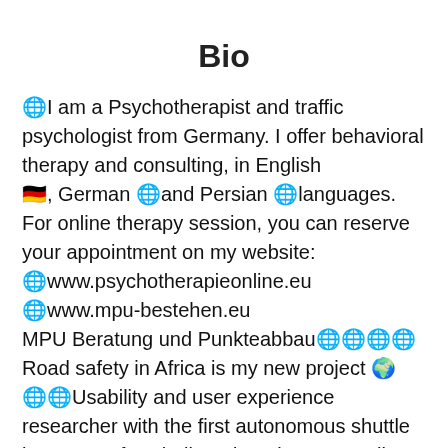Bio
🌐I am a Psychotherapist and traffic psychologist from Germany. I offer behavioral therapy and consulting, in English 🇩🇪, German 🌐and Persian 🌐languages. For online therapy session, you can reserve your appointment on my website: 🌐www.psychotherapieonline.eu 🌐www.mpu-bestehen.eu MPU Beratung und Punkteabbau🌐🌐🌐🌐 Road safety in Africa is my new project 🌍 🌐🌐Usability and user experience researcher with the first autonomous shuttle in Center of Technik and Society TU Berlin Erste Untersuchung Mittwoch den